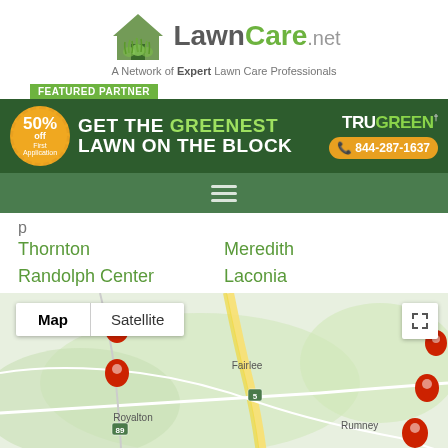[Figure (logo): LawnCare.net logo with house/grass icon and tagline 'A Network of Expert Lawn Care Professionals']
[Figure (infographic): TruGreen featured partner advertisement banner: '50% off First Application', 'GET THE GREENEST LAWN ON THE BLOCK', 'TRUGREEN', '844-287-1637']
[Figure (other): Navigation bar with hamburger menu icon]
Thornton
Meredith
Randolph Center
Laconia
[Figure (map): Google Maps embed showing the New Hampshire/Vermont area with locations including Fairlee, Royalton, Rumney, Plymouth, and map pins. Map/Satellite toggle and fullscreen button visible.]